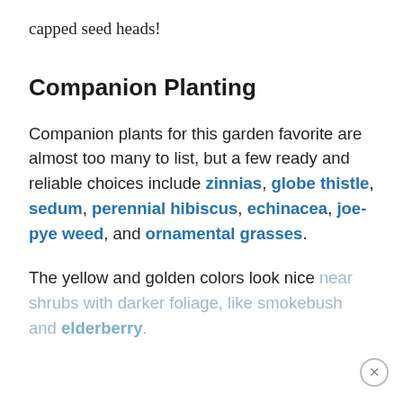capped seed heads!
Companion Planting
Companion plants for this garden favorite are almost too many to list, but a few ready and reliable choices include zinnias, globe thistle, sedum, perennial hibiscus, echinacea, joe-pye weed, and ornamental grasses.
The yellow and golden colors look nice near shrubs with darker foliage, like smokebush and elderberry.